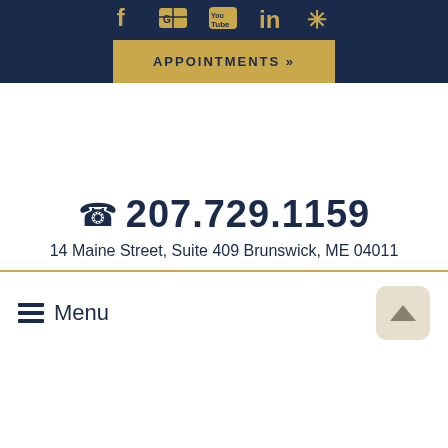Social media icons: Facebook, Google, YouTube, LinkedIn, Yelp
APPOINTMENTS »
207.729.1159
14 Maine Street, Suite 409 Brunswick, ME 04011
Menu